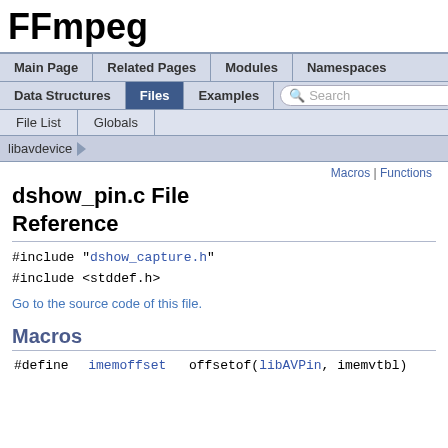FFmpeg
Main Page | Related Pages | Modules | Namespaces | Data Structures | Files | Examples | Search
File List | Globals
libavdevice
Macros | Functions
dshow_pin.c File Reference
#include "dshow_capture.h"
#include <stddef.h>
Go to the source code of this file.
Macros
| #define | Name | Value |
| --- | --- | --- |
| #define | imemoffset | offsetof(libAVPin, imemvtbl) |